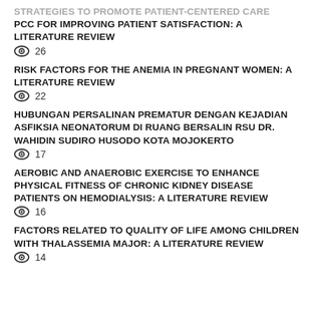STRATEGIES TO PROMOTE PATIENT-CENTERED CARE PCC FOR IMPROVING PATIENT SATISFACTION: A LITERATURE REVIEW
👁 26
RISK FACTORS FOR THE ANEMIA IN PREGNANT WOMEN: A LITERATURE REVIEW
👁 22
HUBUNGAN PERSALINAN PREMATUR DENGAN KEJADIAN ASFIKSIA NEONATORUM DI RUANG BERSALIN RSU DR. WAHIDIN SUDIRO HUSODO KOTA MOJOKERTO
👁 17
AEROBIC AND ANAEROBIC EXERCISE TO ENHANCE PHYSICAL FITNESS OF CHRONIC KIDNEY DISEASE PATIENTS ON HEMODIALYSIS: A LITERATURE REVIEW
👁 16
FACTORS RELATED TO QUALITY OF LIFE AMONG CHILDREN WITH THALASSEMIA MAJOR: A LITERATURE REVIEW
👁 14